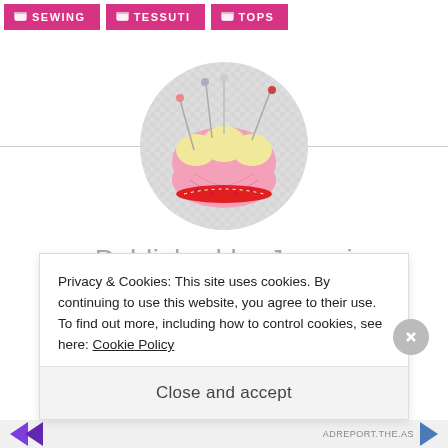SEWING | TESSUTI | TOPS
[Figure (illustration): A pincushion illustration inside a circle with checkered background — a pink rounded pincushion with yellow top sections and several sewing pins stuck into it, with a red band around the base.]
Published by Jacqui
Privacy & Cookies: This site uses cookies. By continuing to use this website, you agree to their use.
To find out more, including how to control cookies, see here: Cookie Policy
Close and accept